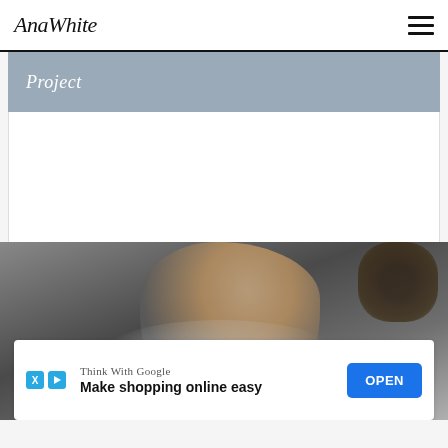AnaWhite
[Figure (screenshot): Website card with blue-gray header strip showing 'Project' text in script font]
[Figure (photo): Person in white shirt photographed from below, dark background]
Think With Google
Make shopping online easy
OPEN